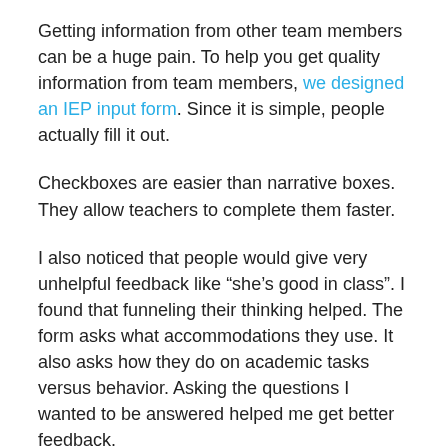Getting information from other team members can be a huge pain. To help you get quality information from team members, we designed an IEP input form. Since it is simple, people actually fill it out.
Checkboxes are easier than narrative boxes. They allow teachers to complete them faster.
I also noticed that people would give very unhelpful feedback like “she’s good in class”. I found that funneling their thinking helped. The form asks what accommodations they use. It also asks how they do on academic tasks versus behavior. Asking the questions I wanted to be answered helped me get better feedback.
For behavior goals that are part of a behavior plan, making a plan with the students is a good strategy. When we meet every 6 weeks to track that progress, a new plan is needed